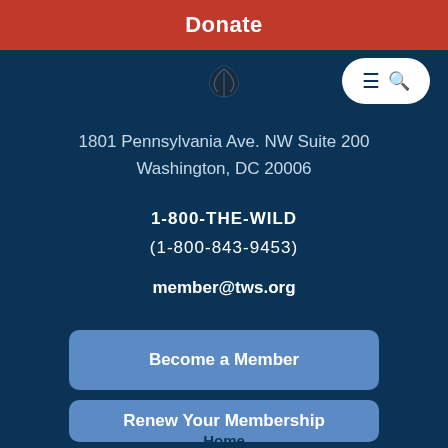Donate
[Figure (logo): Wildlife Society logo - dark leaf/feather emblem on dark blue background]
1801 Pennsylvania Ave. NW Suite 200
Washington, DC 20006
1-800-THE-WILD
(1-800-843-9453)
member@tws.org
Become a Member
Renew Your Membership
Home